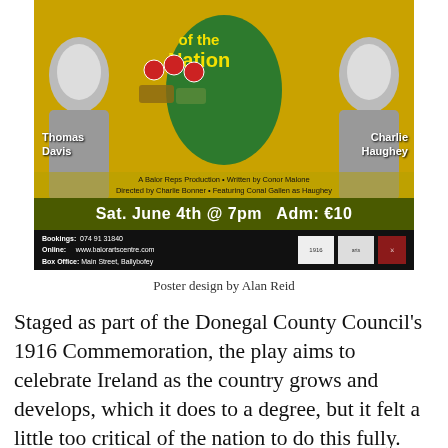[Figure (illustration): Theater poster for 'of the Nation' - A Balor Reps Production written by Conor Malone, directed by Charlie Bonner, featuring Conal Gallen as Haughey. Shows portraits of Thomas Davis and Charlie Haughey against a gold background with Ireland map, casino chips, and banknotes. Sat. June 4th @ 7pm Adm: €10. Bookings: 074 9131840, Online: www.balorartscentre.com, Box Office: Main Street, Ballybofey]
Poster design by Alan Reid
Staged as part of the Donegal County Council's 1916 Commemoration, the play aims to celebrate Ireland as the country grows and develops, which it does to a degree, but it felt a little too critical of the nation to do this fully. The play fails to address the rich culture and